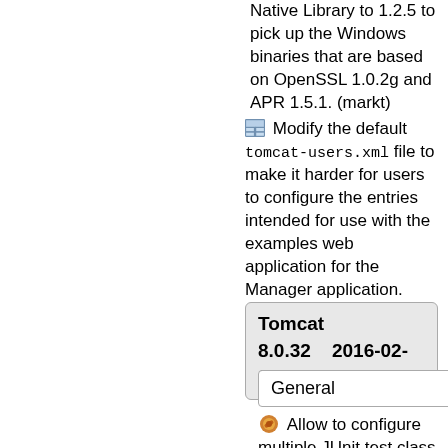Modify the default tomcat-users.xml file to make it harder for users to configure the entries intended for use with the examples web application for the Manager application. (markt)
Tomcat 8.0.32   2016-02-08 (markt)
General
Allow to configure multiple JUnit test class patterns with the build